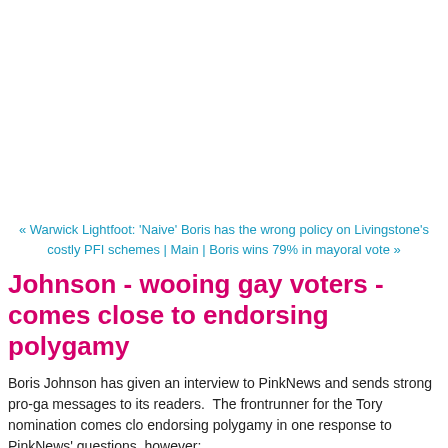« Warwick Lightfoot: 'Naive' Boris has the wrong policy on Livingstone's costly PFI schemes | Main | Boris wins 79% in mayoral vote »
Johnson - wooing gay voters - comes close to endorsing polygamy
Boris Johnson has given an interview to PinkNews and sends strong pro-ga messages to its readers.  The frontrunner for the Tory nomination comes clo endorsing polygamy in one response to PinkNews' questions, however:
"You are implying that civil partnerships are not equal to marriage, they are just a sort of contract...